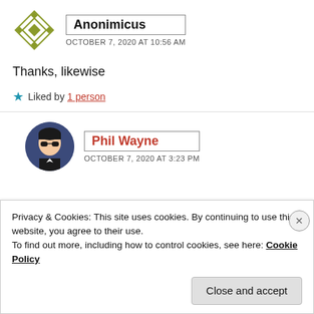[Figure (illustration): Avatar icon for Anonimicus: a geometric olive-green diamond/star pattern on white background]
Anonimicus
OCTOBER 7, 2020 AT 10:56 AM
Thanks, likewise
Liked by 1 person
[Figure (illustration): Avatar for Phil Wayne: cartoon character with black hair, sunglasses, dark suit on blue circular background]
Phil Wayne
OCTOBER 7, 2020 AT 3:23 PM
Privacy & Cookies: This site uses cookies. By continuing to use this website, you agree to their use.
To find out more, including how to control cookies, see here: Cookie Policy
Close and accept